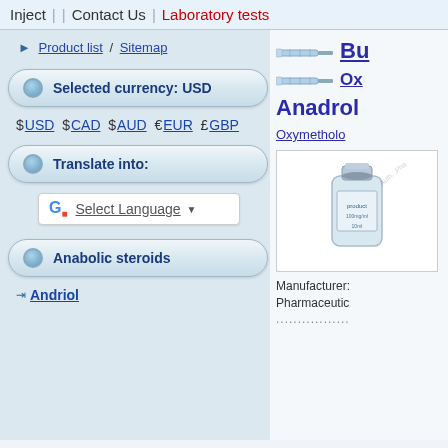Inject | Contact Us | Laboratory tests
Product list / Sitemap
Selected currency: USD
$ USD $ CAD $ AUD € EUR £ GBP
Translate into:
Select Language
Anabolic steroids
Andriol
Bu
Ox
Anadrol
Oxymetholo
[Figure (photo): Pharmaceutical vial/bottle product image with watermark]
Manufacturer: Pharmaceutic
......................